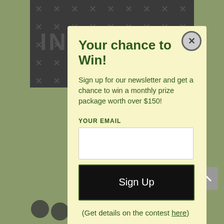[Figure (screenshot): Website background with dark patterned top bar and olive green sides, partially visible newsletter/crafting content behind modal popup]
Your chance to Win!
Sign up for our newsletter and get a chance to win a monthly prize package worth over $150!
YOUR EMAIL
Sign Up
(Get details on the contest here)